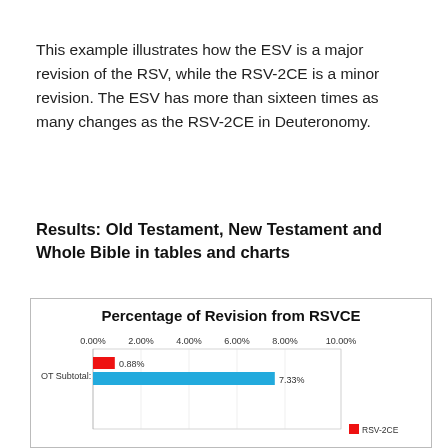This example illustrates how the ESV is a major revision of the RSV, while the RSV-2CE is a minor revision. The ESV has more than sixteen times as many changes as the RSV-2CE in Deuteronomy.
Results: Old Testament, New Testament and Whole Bible in tables and charts
[Figure (bar-chart): Percentage of Revision from RSVCE]